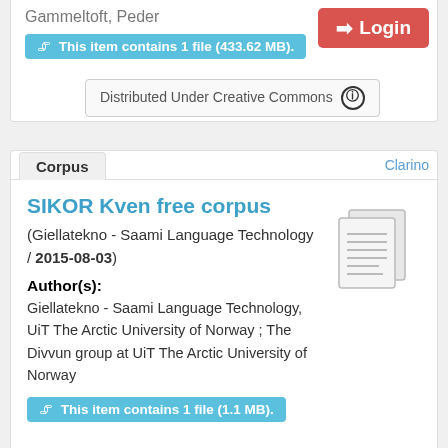Gammeltoft, Peder
This item contains 1 file (433.62 MB).
Login
Distributed Under Creative Commons
Corpus
Clarino
SIKOR Kven free corpus
(Giellatekno - Saami Language Technology / 2015-08-03)
Author(s):
Giellatekno - Saami Language Technology, UiT The Arctic University of Norway ; The Divvun group at UiT The Arctic University of Norway
This item contains 1 file (1.1 MB).
Distributed Under Creative Commons
Corpus
Clarino